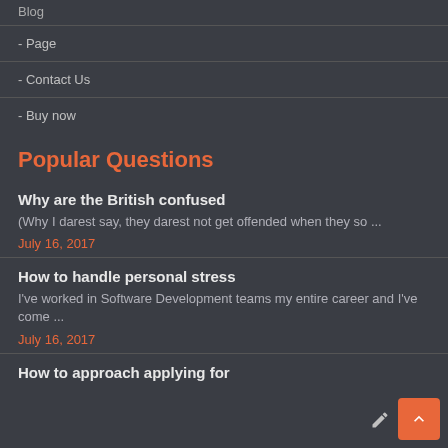Blog
- Page
- Contact Us
- Buy now
Popular Questions
Why are the British confused
(Why I darest say, they darest not get offended when they so ...
July 16, 2017
How to handle personal stress
I've worked in Software Development teams my entire career and I've come ...
July 16, 2017
How to approach applying for